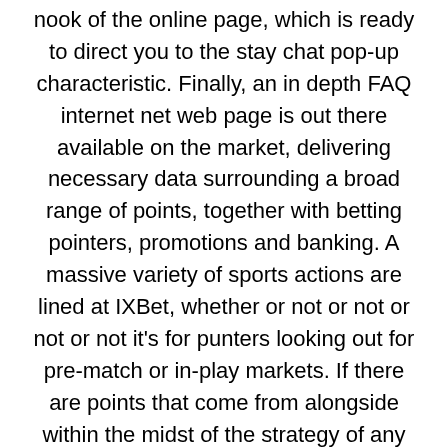nook of the online page, which is ready to direct you to the stay chat pop-up characteristic. Finally, an in depth FAQ internet net web page is out there available on the market, delivering necessary data surrounding a broad range of points, together with betting pointers, promotions and banking. A massive variety of sports actions are lined at IXBet, whether or not or not or not or not it's for punters looking out for pre-match or in-play markets. If there are points that come from alongside within the midst of the strategy of any buy, buyer assistance is simply numerous steps away. You can find an agent inside the reside chat space, starting a conversation any time day or night if